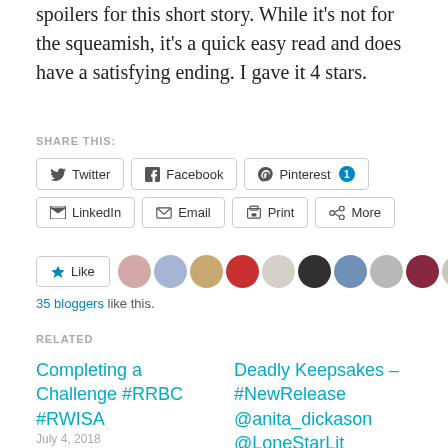spoilers for this short story. While it's not for the squeamish, it's a quick easy read and does have a satisfying ending. I gave it 4 stars.
SHARE THIS:
Twitter  Facebook  Pinterest 1  LinkedIn  Email  Print  More
Like  35 bloggers like this.
RELATED
Completing a Challenge #RRBC #RWISA
Deadly Keepsakes – #NewRelease @anita_dickason @LoneStarLit
July 4, 2018